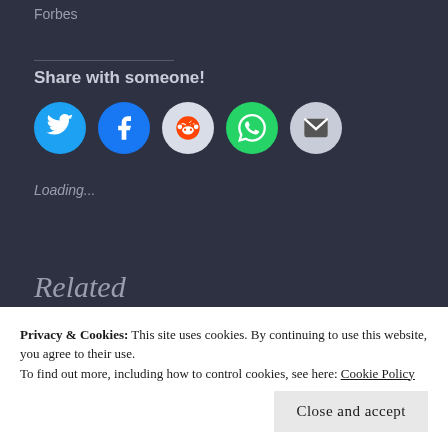Forbes
Share with someone!
[Figure (infographic): Five social share buttons: Twitter (blue bird), Facebook (blue f), Reddit (grey alien), WhatsApp (green phone), Email (grey envelope)]
Loading...
Related
Privacy & Cookies: This site uses cookies. By continuing to use this website, you agree to their use.
To find out more, including how to control cookies, see here: Cookie Policy
Close and accept